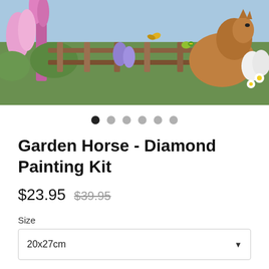[Figure (photo): Product image of a garden scene with a horse, flowers including foxgloves and daisies, birds, and a wooden fence — a diamond painting kit preview image]
● ● ● ● ● ●
Garden Horse - Diamond Painting Kit
$23.95  $39.95
Size
20x27cm
Diamond Shape
Square